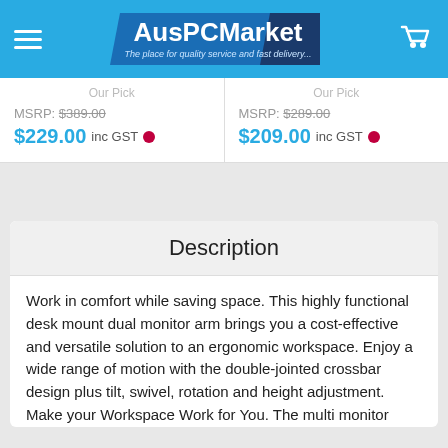AusPCMarket - The place for quality service and fast delivery...
Our Pick
MSRP: $389.00
$229.00 inc GST
Our Pick
MSRP: $289.00
$209.00 inc GST
Description
Work in comfort while saving space. This highly functional desk mount dual monitor arm brings you a cost-effective and versatile solution to an ergonomic workspace. Enjoy a wide range of motion with the double-jointed crossbar design plus tilt, swivel, rotation and height adjustment. Make your Workspace Work for You. The multi monitor